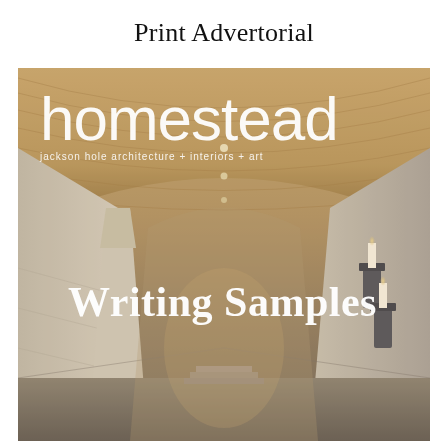Print Advertorial
[Figure (illustration): Magazine cover of 'homestead' — jackson hole architecture + interiors + art. Shows an elegant interior corridor with wood-paneled barrel ceiling, stone walls, and wall sconces. Overlaid text reads 'Writing Samples' in large white serif type.]